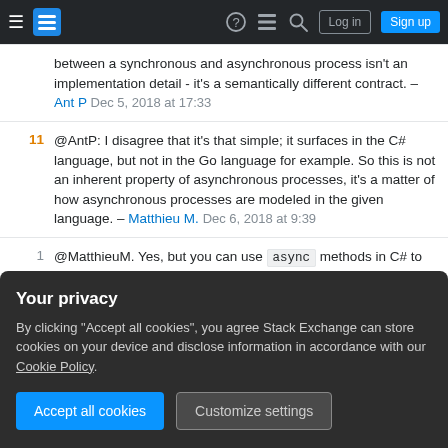Stack Exchange navigation bar with hamburger menu, logo, help, chat, search icons, Log in and Sign up buttons
between a synchronous and asynchronous process isn't an implementation detail - it's a semantically different contract. – Ant P Dec 5, 2018 at 17:33
11 @AntP: I disagree that it's that simple; it surfaces in the C# language, but not in the Go language for example. So this is not an inherent property of asynchronous processes, it's a matter of how asynchronous processes are modeled in the given language. – Matthieu M. Dec 6, 2018 at 9:39
1 @MatthieuM. Yes, but you can use async methods in C# to provide synchronous contracts too, if you want to. The only difference is that Go is
Your privacy
By clicking "Accept all cookies", you agree Stack Exchange can store cookies on your device and disclose information in accordance with our Cookie Policy.